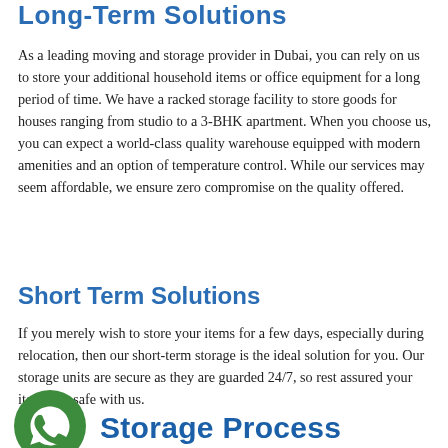Long-Term Solutions
As a leading moving and storage provider in Dubai, you can rely on us to store your additional household items or office equipment for a long period of time. We have a racked storage facility to store goods for houses ranging from studio to a 3-BHK apartment. When you choose us, you can expect a world-class quality warehouse equipped with modern amenities and an option of temperature control. While our services may seem affordable, we ensure zero compromise on the quality offered.
Short Term Solutions
If you merely wish to store your items for a few days, especially during relocation, then our short-term storage is the ideal solution for you. Our storage units are secure as they are guarded 24/7, so rest assured your items are safe with us.
[Figure (logo): WhatsApp green circle icon with phone/chat symbol]
Storage Process